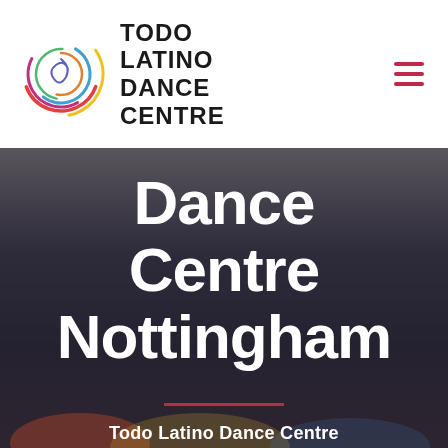[Figure (logo): Todo Latino Dance Centre logo — colorful swirling circle on the left, bold uppercase text 'TODO LATINO DANCE CENTRE' on the right, with a hamburger menu icon (three red horizontal lines) on the far right]
[Figure (photo): Dark background hero image of a dance studio with large white bold text reading 'Dance Centre Nottingham', a red underline, and partial text 'Todo Latino Dance Centre' at the bottom]
Dance Centre Nottingham
Todo Latino Dance Centre